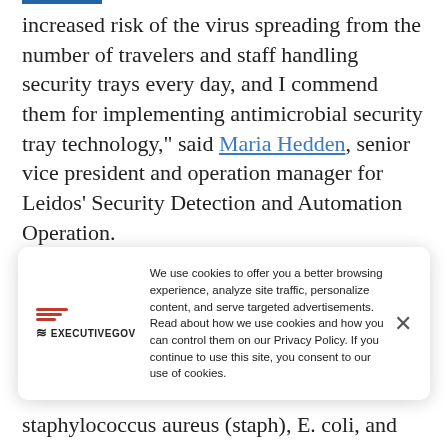increased risk of the virus spreading from the number of travelers and staff handling security trays every day, and I commend them for implementing antimicrobial security tray technology," said Maria Hedden, senior vice president and operation manager for Leidos' Security Detection and Automation Operation.
Leidos will implement antimicrobial technology at Edinburgh Airport to minimize the spread of bacteria in the airport and mitigate the spread of
We use cookies to offer you a better browsing experience, analyze site traffic, personalize content, and serve targeted advertisements. Read about how we use cookies and how you can control them on our Privacy Policy. If you continue to use this site, you consent to our use of cookies.
staphylococcus aureus (staph), E. coli, and